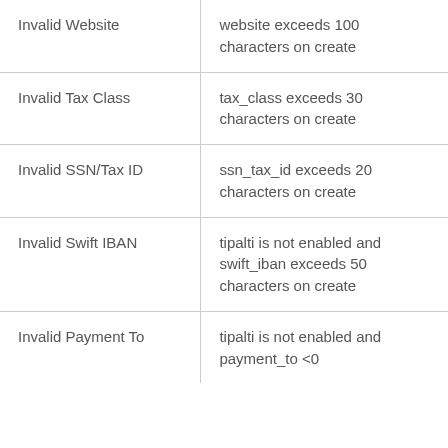| Invalid Website | website exceeds 100 characters on create |
| Invalid Tax Class | tax_class exceeds 30 characters on create |
| Invalid SSN/Tax ID | ssn_tax_id exceeds 20 characters on create |
| Invalid Swift IBAN | tipalti is not enabled and swift_iban exceeds 50 characters on create |
| Invalid Payment To | tipalti is not enabled and payment_to <0 |